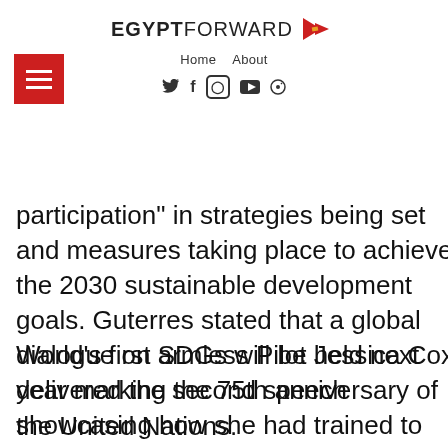EGYPT FORWARD — Home About
participation" in strategies being set and measures taking place to achieve the 2030 sustainable development goals. Guterres stated that a global dialogue on SDGs will be held next year marking the 75th anniversary of the United Nations.
World's first armless Pilot Jessica Cox delivered the second speech showcasing how she had trained to achieve her goal and fly with her feet.